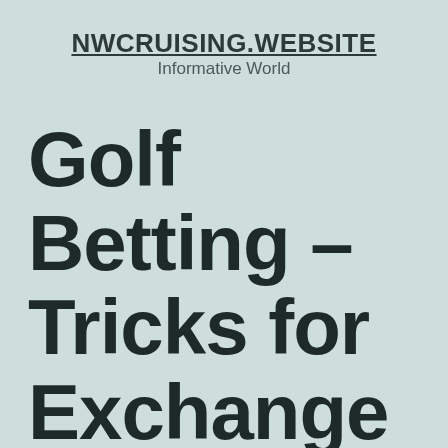NWCRUISING.WEBSITE
Informative World
Golf Betting – Tricks for Exchange Betting on